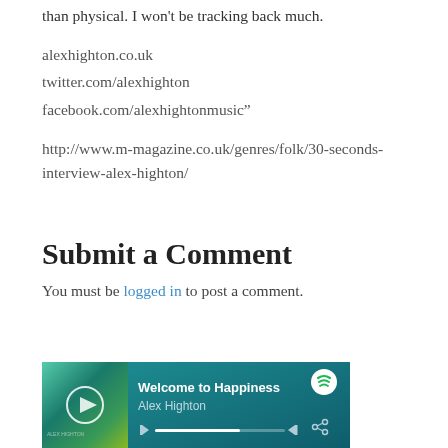than physical. I won't be tracking back much.
alexhighton.co.uk
twitter.com/alexhighton
facebook.com/alexhightonmusic”
http://www.m-magazine.co.uk/genres/folk/30-seconds-interview-alex-highton/
Submit a Comment
You must be logged in to post a comment.
[Figure (other): Spotify embedded music player widget showing 'Welcome to Happiness' by Alex Highton with album art, play button, progress bar, and Spotify logo]